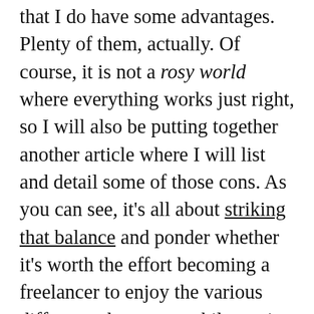that I do have some advantages. Plenty of them, actually. Of course, it is not a rosy world where everything works just right, so I will also be putting together another article where I will list and detail some of those cons. As you can see, it's all about striking that balance and ponder whether it's worth the effort becoming a freelancer to enjoy the various different advantages while putting up with the burden of some of those challenges themselves I will be talking about shortly. It's a thin line. I can tell you